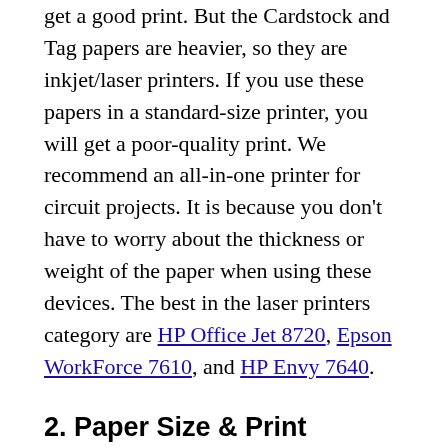get a good print. But the Cardstock and Tag papers are heavier, so they are inkjet/laser printers. If you use these papers in a standard-size printer, you will get a poor-quality print. We recommend an all-in-one printer for circuit projects. It is because you don't have to worry about the thickness or weight of the paper when using these devices. The best in the laser printers category are HP Office Jet 8720, Epson WorkForce 7610, and HP Envy 7640.
2. Paper Size & Print Quality
This is again another important requisite if you are going to buy inkjet printer. You should know the print quality you want and the paper size